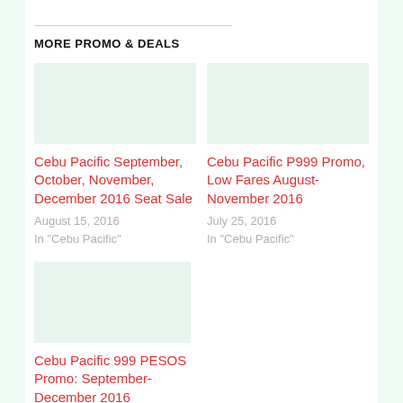MORE PROMO & DEALS
Cebu Pacific September, October, November, December 2016 Seat Sale
August 15, 2016
In 'Cebu Pacific'
Cebu Pacific P999 Promo, Low Fares August-November 2016
July 25, 2016
In 'Cebu Pacific'
Cebu Pacific 999 PESOS Promo: September-December 2016